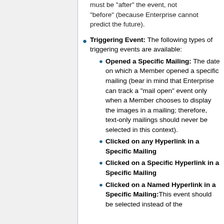must be "after" the event, not "before" (because Enterprise cannot predict the future).
Triggering Event: The following types of triggering events are available:
Opened a Specific Mailing: The date on which a Member opened a specific mailing (bear in mind that Enterprise can track a "mail open" event only when a Member chooses to display the images in a mailing; therefore, text-only mailings should never be selected in this context).
Clicked on any Hyperlink in a Specific Mailing
Clicked on a Specific Hyperlink in a Specific Mailing
Clicked on a Named Hyperlink in a Specific Mailing: This event should be selected instead of the